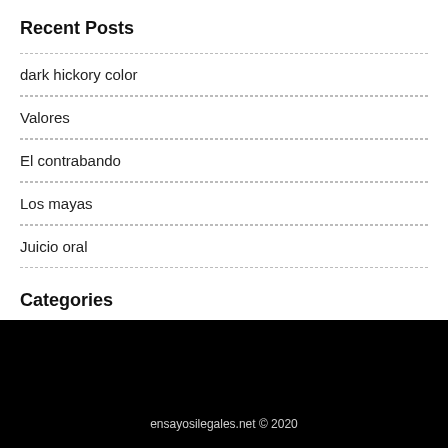Recent Posts
dark hickory color
Valores
El contrabando
Los mayas
Juicio oral
Categories
Ejemplos de ensayos
ensayosilegales.net © 2020